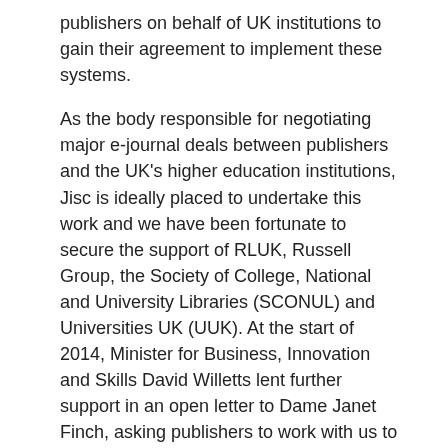publishers on behalf of UK institutions to gain their agreement to implement these systems.
As the body responsible for negotiating major e-journal deals between publishers and the UK's higher education institutions, Jisc is ideally placed to undertake this work and we have been fortunate to secure the support of RLUK, Russell Group, the Society of College, National and University Libraries (SCONUL) and Universities UK (UUK). At the start of 2014, Minister for Business, Innovation and Skills David Willetts lent further support in an open letter to Dame Janet Finch, asking publishers to work with us to develop and implement new charging models.
We have worked up several options to offset APCs and subscription charges. One of these is for publishers to offer vouchers to institutions when they pay for publication of articles, to be redeemed against the price of journal subscriptions – another flips that concept on its head and requires publishers to provide credit for future publication of articles when subscriptions are